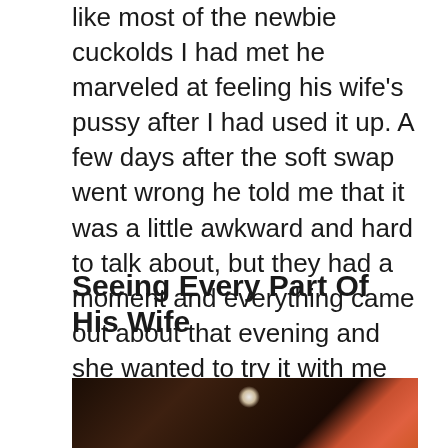like most of the newbie cuckolds I had met he marveled at feeling his wife's pussy after I had used it up. A few days after the soft swap went wrong he told me that it was a little awkward and hard to talk about, but they had a moment and everything came out about that evening and she wanted to try it with me again and so did he.
Seeing Every Part Of His Wife
[Figure (photo): Dark photograph showing partial view of a person, with a bright light source visible and pink/red colored fabric or clothing.]